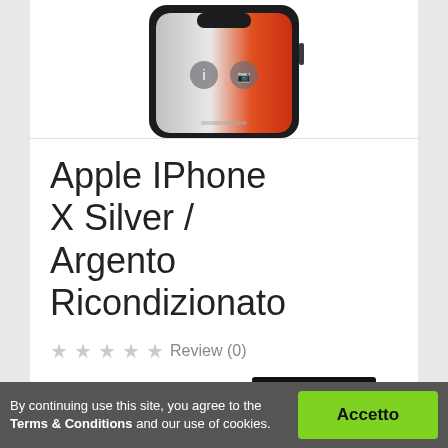[Figure (photo): Top portion of Apple iPhone X Silver shown from front, with lock screen gradient (red/orange), info and camera icons visible on screen, on white background]
Apple IPhone X Silver / Argento Ricondizionato
★★★★★ Review (0)
€299.00  €652.00  Save €353.00
VAT included
Product available with different options
By continuing use this site, you agree to the Terms & Conditions and our use of cookies.